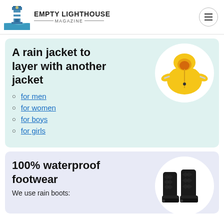EMPTY LIGHTHOUSE MAGAZINE
A rain jacket to layer with another jacket
[Figure (photo): Yellow children's rain jacket with hood and reflective strips on sleeves, displayed against white circular background]
for men
for women
for boys
for girls
100% waterproof footwear
[Figure (photo): Black quilted rain boots/wellies displayed against white circular background]
We use rain boots: